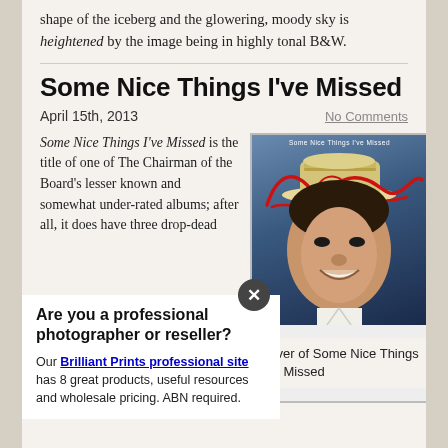shape of the iceberg and the glowering, moody sky is heightened by the image being in highly tonal B&W.
Some Nice Things I've Missed
April 15th, 2013
No Comments
Some Nice Things I've Missed is the title of one of The Chairman of the Board's lesser known and somewhat under-rated albums; after all, it does have three drop-dead
[Figure (photo): Album cover of Some Nice Things I've Missed showing Frank Sinatra in a hat smiling, with a red signature overlaid on top]
Cover of Some Nice Things I've Missed
Are you a professional photographer or reseller?
Our Brilliant Prints professional site has 8 great products, useful resources and wholesale pricing. ABN required.